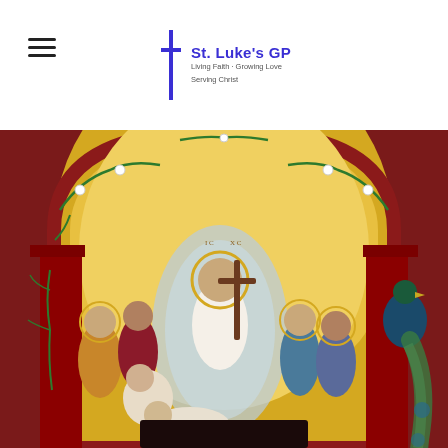St. Luke's GP — Living Faith · Growing Love · Serving Christ
[Figure (illustration): Religious icon depicting the Resurrection of Christ (Anastasis). Christ in white robes holding a cross stands in the center within a mandorla, raising figures from below. Surrounded by saints and apostles with halos on both sides, set within an ornate arch with green vines and a peacock on the right column. Rich red and gold background.]